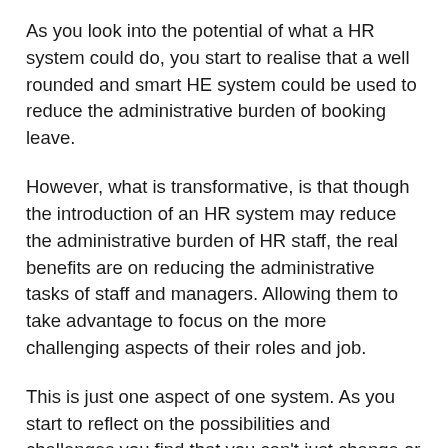As you look into the potential of what a HR system could do, you start to realise that a well rounded and smart HE system could be used to reduce the administrative burden of booking leave.
However, what is transformative, is that though the introduction of an HR system may reduce the administrative burden of HR staff, the real benefits are on reducing the administrative tasks of staff and managers. Allowing them to take advantage to focus on the more challenging aspects of their roles and job.
This is just one aspect of one system. As you start to reflect on the possibilities and challenges you find that you can't just change or transform one thing, you need to think about the wider aspects of transformation.
Building on this you start to realise that digital HR systems